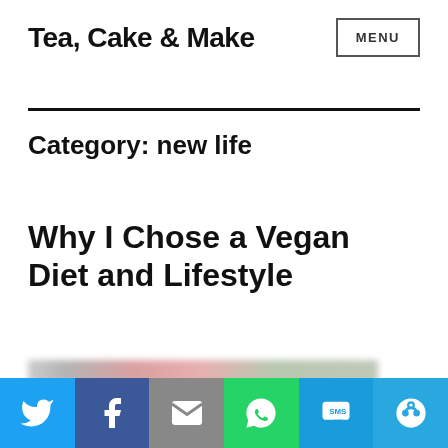Tea, Cake & Make
Category: new life
Why I Chose a Vegan Diet and Lifestyle
[Figure (photo): Blurred partial image at bottom of article preview]
Social share bar with Twitter, Facebook, Email, WhatsApp, SMS, More